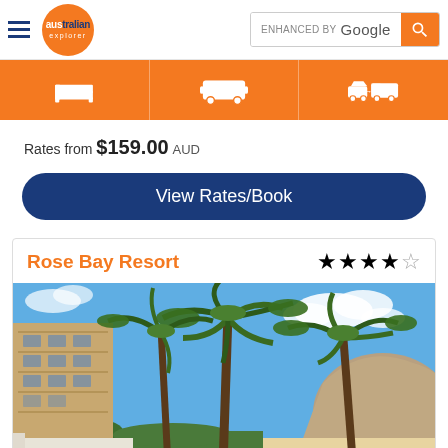[Figure (screenshot): Australian Explorer website header with logo, hamburger menu, and Google search bar]
[Figure (infographic): Orange navigation bar with three icons: bed (accommodation), bus (tours/transport), car with arrow (rental/transfer)]
Rates from $159.00 AUD
View Rates/Book
Rose Bay Resort
[Figure (photo): Photo of Rose Bay Resort showing multi-storey resort building on the left with large palm trees in the foreground, blue sky with clouds, and rocky hillside in the background]